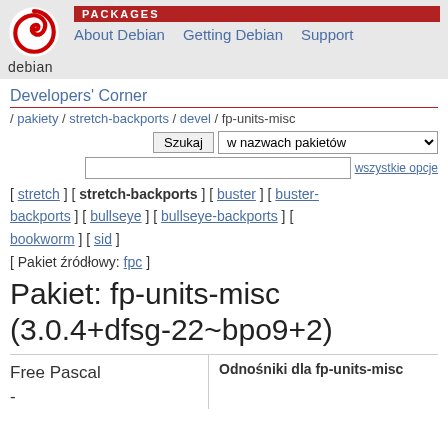PACKAGES | About Debian | Getting Debian | Support
Developers' Corner
/ pakiety / stretch-backports / devel / fp-units-misc
Szukaj | w nazwach pakietów | wszystkie opcje
[ stretch ] [ stretch-backports ] [ buster ] [ buster-backports ] [ bullseye ] [ bullseye-backports ] [ bookworm ] [ sid ]
[ Pakiet źródłowy: fpc ]
Pakiet: fp-units-misc (3.0.4+dfsg-22~bpo9+2)
Free Pascal -
Odnośniki dla fp-units-misc